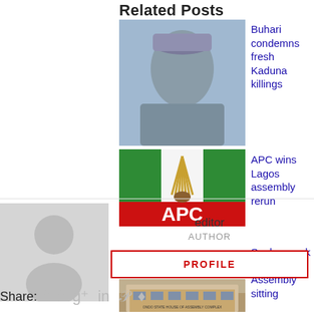Related Posts
[Figure (photo): Photo of Nigerian President Buhari in a blue outfit]
Buhari condemns fresh Kaduna killings
[Figure (logo): APC party logo with broom and red, green, white colors]
APC wins Lagos assembly rerun
[Figure (photo): Photo of Ondo State House of Assembly complex building]
Snakes sack Ondo Assembly sitting
[Figure (photo): Default user avatar placeholder in grey]
editor
AUTHOR
PROFILE
Share: